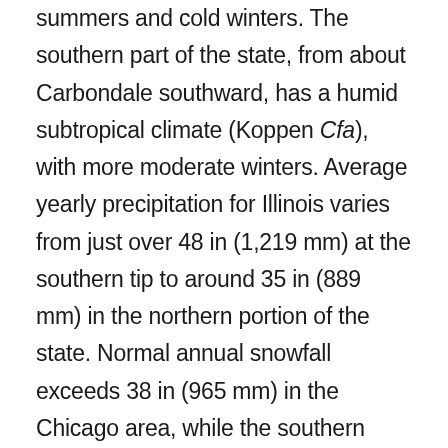summers and cold winters. The southern part of the state, from about Carbondale southward, has a humid subtropical climate (Koppen Cfa), with more moderate winters. Average yearly precipitation for Illinois varies from just over 48 in (1,219 mm) at the southern tip to around 35 in (889 mm) in the northern portion of the state. Normal annual snowfall exceeds 38 in (965 mm) in the Chicago area, while the southern portion of the state normally receives less than 14 in (356 mm). The all-time high temperature was 117 °F (47 °C), recorded on July 14, 1954, at East St. Louis, and the all-time low temperature was -38 °F (-39 °C), recorded on January 31, 2019, during the January 2019 North American cold wave at a weather station near